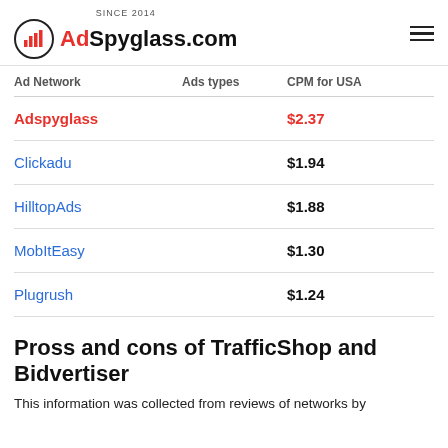SINCE 2014 AdSpyglass.com
| Ad Network | Ads types | CPM for USA |
| --- | --- | --- |
| Adspyglass |  | $2.37 |
| Clickadu |  | $1.94 |
| HilltopAds |  | $1.88 |
| MobItEasy |  | $1.30 |
| Plugrush |  | $1.24 |
Pross and cons of TrafficShop and Bidvertiser
This information was collected from reviews of networks by